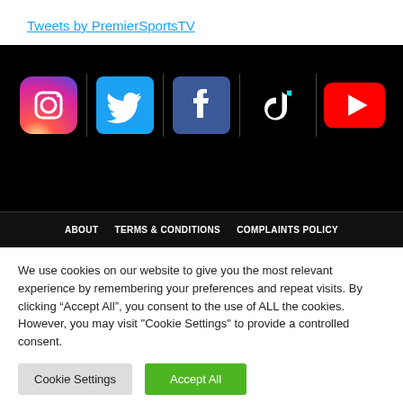Tweets by PremierSportsTV
[Figure (illustration): Social media icons row: Instagram, Twitter, Facebook, TikTok, YouTube on black background]
ABOUT   TERMS & CONDITIONS   COMPLAINTS POLICY
We use cookies on our website to give you the most relevant experience by remembering your preferences and repeat visits. By clicking “Accept All”, you consent to the use of ALL the cookies. However, you may visit "Cookie Settings" to provide a controlled consent.
Cookie Settings   Accept All